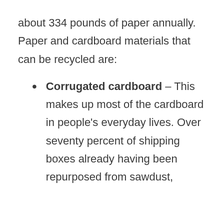about 334 pounds of paper annually. Paper and cardboard materials that can be recycled are:
Corrugated cardboard – This makes up most of the cardboard in people's everyday lives. Over seventy percent of shipping boxes already having been repurposed from sawdust,